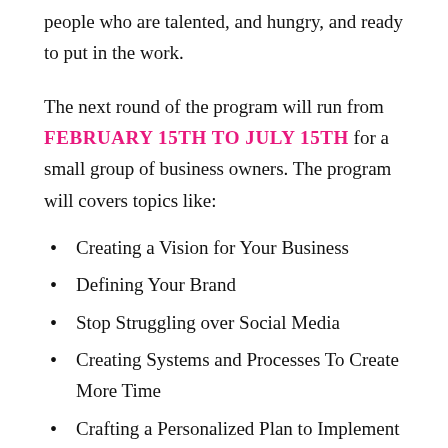people who are talented, and hungry, and ready to put in the work.
The next round of the program will run from FEBRUARY 15TH TO JULY 15TH for a small group of business owners. The program will covers topics like:
Creating a Vision for Your Business
Defining Your Brand
Stop Struggling over Social Media
Creating Systems and Processes To Create More Time
Crafting a Personalized Plan to Implement